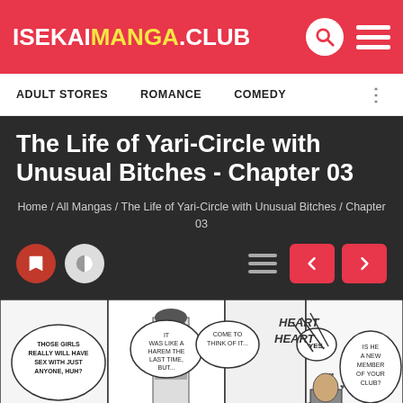ISEKAIMANGA.CLUB
ADULT STORES  ROMANCE  COMEDY
The Life of Yari-Circle with Unusual Bitches - Chapter 03
Home / All Mangas / The Life of Yari-Circle with Unusual Bitches / Chapter 03
[Figure (illustration): Manga page panel showing characters with speech bubbles: 'THOSE GIRLS REALLY WILL HAVE SEX WITH JUST ANYONE, HUH?', 'IT WAS LIKE A HAREM THE LAST TIME, BUT...', 'COME TO THINK OF IT...', 'YES.', 'HE IS.', 'IS HE A NEW MEMBER OF YOUR CLUB?', 'HEART HEART']